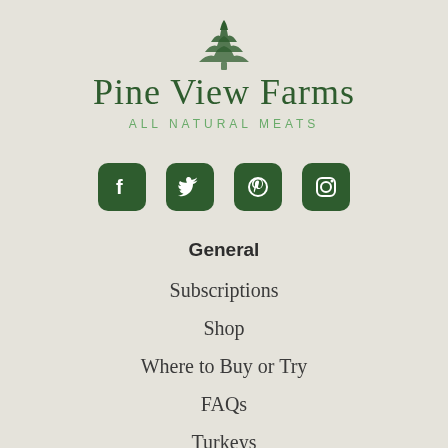[Figure (logo): Pine View Farms logo with a green illustrated pine tree icon above the brand name]
Pine View Farms
ALL NATURAL MEATS
[Figure (other): Social media icons row: Facebook, Twitter, Pinterest, Instagram — dark green rounded square buttons]
General
Subscriptions
Shop
Where to Buy or Try
FAQs
Turkeys